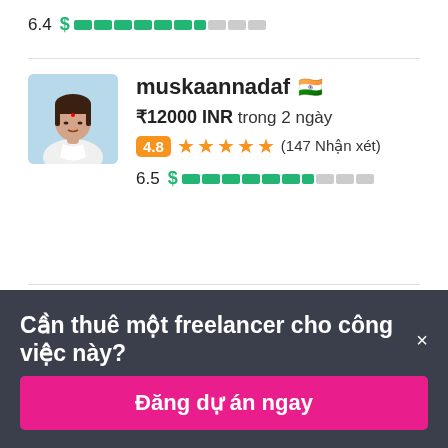6.4  $ [progress bar]
[Figure (photo): Profile photo of muskaannadaf, a female freelancer from India, shown with blue background in a rounded-corner avatar]
muskaannadaf 🇮🇳
₹12000 INR trong 2 ngày
4.8 ★★★★★ (147 Nhận xét)
6.5  $ [progress bar]
Cần thuê một freelancer cho công việc này? ×
Đăng dự án ngay